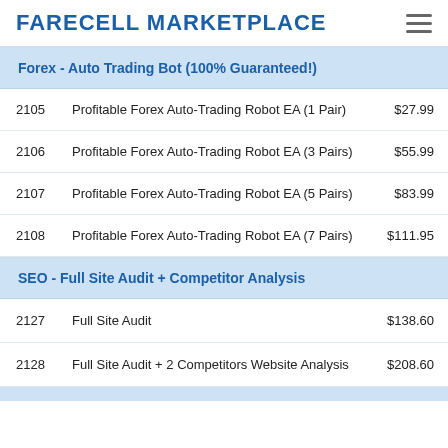FARECELL MARKETPLACE
Forex - Auto Trading Bot (100% Guaranteed!)
| ID | Name | Price |
| --- | --- | --- |
| 2105 | Profitable Forex Auto-Trading Robot EA (1 Pair) | $27.99 |
| 2106 | Profitable Forex Auto-Trading Robot EA (3 Pairs) | $55.99 |
| 2107 | Profitable Forex Auto-Trading Robot EA (5 Pairs) | $83.99 |
| 2108 | Profitable Forex Auto-Trading Robot EA (7 Pairs) | $111.95 |
SEO - Full Site Audit + Competitor Analysis
| ID | Name | Price |
| --- | --- | --- |
| 2127 | Full Site Audit | $138.60 |
| 2128 | Full Site Audit + 2 Competitors Website Analysis | $208.60 |